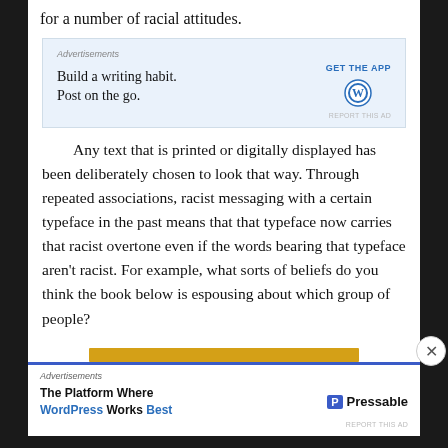for a number of racial attitudes.
[Figure (screenshot): Advertisement box with light blue background: 'Build a writing habit. Post on the go.' with GET THE APP link and WordPress logo icon]
Any text that is printed or digitally displayed has been deliberately chosen to look that way. Through repeated associations, racist messaging with a certain typeface in the past means that that typeface now carries that racist overtone even if the words bearing that typeface aren't racist. For example, what sorts of beliefs do you think the book below is espousing about which group of people?
[Figure (screenshot): Advertisement box with Pressable branding: 'The Platform Where WordPress Works Best' with Pressable logo]
[Figure (screenshot): Yellow horizontal bar at bottom of page content area]